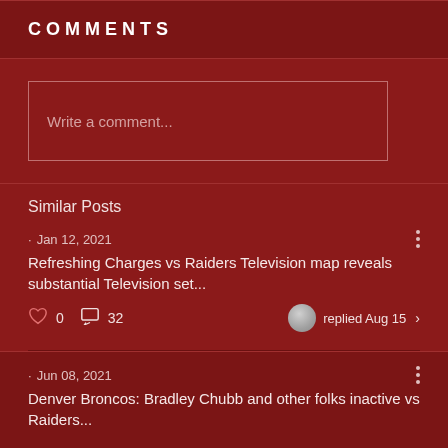COMMENTS
Write a comment...
Similar Posts
Jan 12, 2021
Refreshing Charges vs Raiders Television map reveals substantial Television set...
0  32  replied Aug 15
Jun 08, 2021
Denver Broncos: Bradley Chubb and other folks inactive vs Raiders...